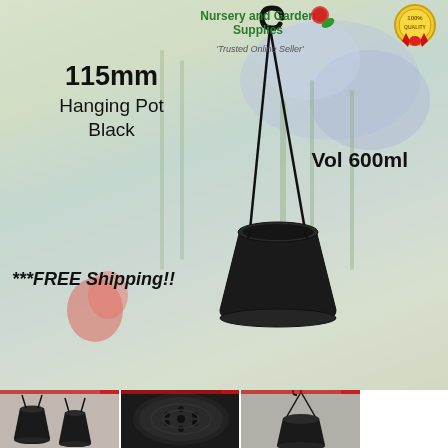[Figure (photo): Product listing image for a 115mm black hanging pot with floral garden background. Shows the black plastic hanging pot with curved hook and string hanger, suspended. Bottom strip shows three thumbnail photos of the pot from different angles.]
Nursery and Garden Supplies
'Trusted Online Seller'
115mm
Hanging Pot
Black
Vol 600ml
***FREE Shipping!!